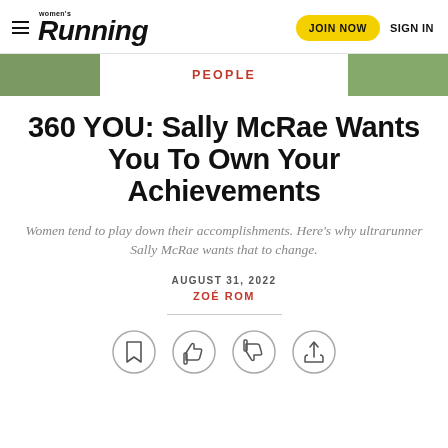Women's Running — JOIN NOW  SIGN IN
PEOPLE
360 YOU: Sally McRae Wants You To Own Your Achievements
Women tend to play down their accomplishments. Here's why ultrarunner Sally McRae wants that to change.
AUGUST 31, 2022
ZOÉ ROM
[Figure (other): Four circular icon buttons: bookmark, thumbs up, thumbs down, share]